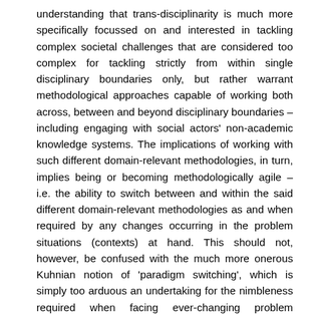understanding that trans-disciplinarity is much more specifically focussed on and interested in tackling complex societal challenges that are considered too complex for tackling strictly from within single disciplinary boundaries only, but rather warrant methodological approaches capable of working both across, between and beyond disciplinary boundaries – including engaging with social actors' non-academic knowledge systems. The implications of working with such different domain-relevant methodologies, in turn, implies being or becoming methodologically agile – i.e. the ability to switch between and within the said different domain-relevant methodologies as and when required by any changes occurring in the problem situations (contexts) at hand. This should not, however, be confused with the much more onerous Kuhnian notion of 'paradigm switching', which is simply too arduous an undertaking for the nimbleness required when facing ever-changing problem situations in the Anthropocene today. In light of the above, the fundamental focus of this study is on developing such an agile transdisciplinary methodology – with an explicit interest in contributing to just and sustainable social change in/to the complex societal challenges facing us in the Anthropocene today in a manner that is mindful of not falling into the said trap of presenting itself as a panacea for ALL the different kinds of problems situations facing us in the Anthropocene today. In short, such an agile transdisciplinary methodology will be referred to throughout this study as an emergent, transformative transdisciplinary research